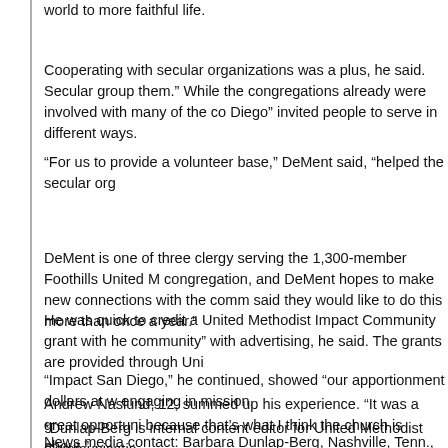world to more faithful life.
Cooperating with secular organizations was a plus, he said. Secular group them." While the congregations already were involved with many of the co Diego" invited people to serve in different ways.
“For us to provide a volunteer base,” DeMent said, “helped the secular org
DeMent is one of three clergy serving the 1,300-member Foothills United M congregation, and DeMent hopes to make new connections with the comm said they would like to do this more than once a year.”
He was quick to credit a United Methodist Impact Community grant with he community” with advertising, he said. The grants are provided through Uni
“Impact San Diego,” he continued, showed “our apportionment dollars at w engaging in mission.
Andrew Naslund, 12, summed up his experience. “It was a great opportuni because that’s what I think the church is about.”
*Dunlap-Berg is internal content editor for United Methodist Communicatio
News media contact: Barbara Dunlap-Berg, Nashville, Tenn., (615) 742-54